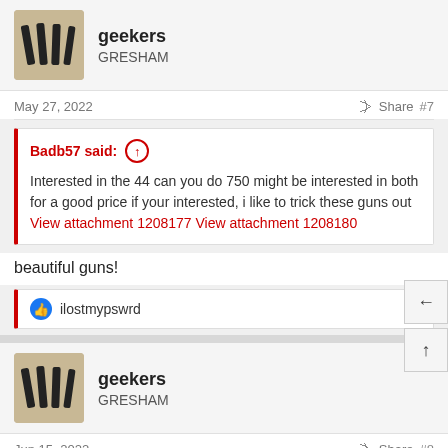geekers
GRESHAM
May 27, 2022   Share  #7
Badb57 said: ↑
Interested in the 44 can you do 750 might be interested in both for a good price if your interested, i like to trick these guns out View attachment 1208177 View attachment 1208180
beautiful guns!
👍 ilostmypswrd
geekers
GRESHAM
Jun 15, 2022   Share  #8
all weather is sold and gone